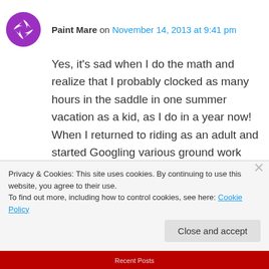Paint Mare on November 14, 2013 at 9:41 pm
Yes, it's sad when I do the math and realize that I probably clocked as many hours in the saddle in one summer vacation as a kid, as I do in a year now! When I returned to riding as an adult and started Googling various ground work and NH programs (all new to me) I did think that a lot of the exercises were about fast tracking things
Privacy & Cookies: This site uses cookies. By continuing to use this website, you agree to their use.
To find out more, including how to control cookies, see here: Cookie Policy
Close and accept